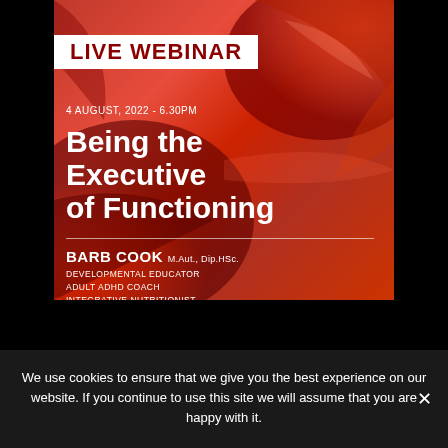[Figure (illustration): Live webinar promotional image with red background showing a red sports car. Contains title 'LIVE WEBINAR', date '4 AUGUST, 2022 - 6.30PM', main title 'Being the Executive of Functioning', presenter name 'BARB COOK M.Aut., Dip.HSc.' with roles Developmental Educator, Adult ADHD Coach, Integrative Nutritionist.]
LIVE WEBINAR
4 AUGUST, 2022 - 6.30PM
Being the Executive of Functioning
BARB COOK M.Aut., Dip.HSc.
DEVELOPMENTAL EDUCATOR
ADULT ADHD COACH
INTEGRATIVE NUTRITIONIST
We use cookies to ensure that we give you the best experience on our website. If you continue to use this site we will assume that you are happy with it.